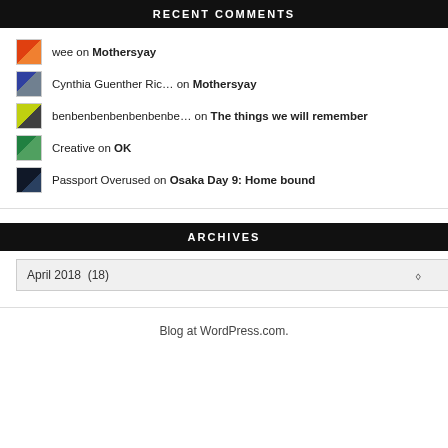RECENT COMMENTS
wee on Mothersyay
Cynthia Guenther Ric... on Mothersyay
benbenbenbenbenbenbe... on The things we will remember
Creative on OK
Passport Overused on Osaka Day 9: Home bound
ARCHIVES
April 2018  (18)
Blog at WordPress.com.